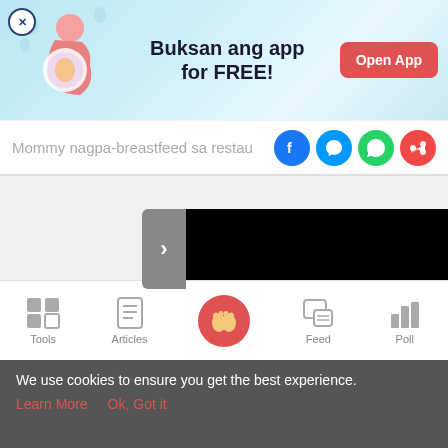[Figure (screenshot): App promotion banner ad with illustration of pregnant woman, text 'Buksan ang app for FREE!' and red 'Open App' button]
Mommy nagpa-breastfeed sa restau...
[Figure (screenshot): Video player area showing black screen with slider arrow on left side]
[Figure (screenshot): Bottom navigation bar with Tools, Articles, Home (pink circle), Feed, and Poll icons]
We use cookies to ensure you get the best experience.
Learn More    Ok, Got it